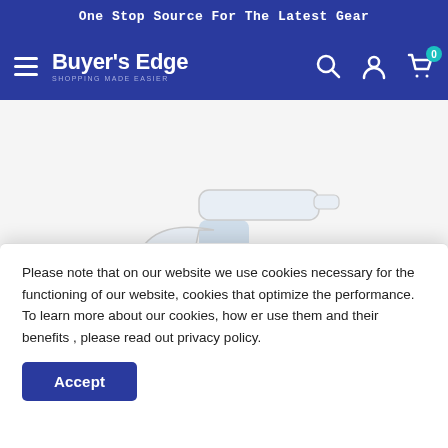One Stop Source For The Latest Gear
Buyer's Edge
[Figure (photo): A spray bottle with white trigger sprayer and black Chemical Guys branded label on a white/light background]
Please note that on our website we use cookies necessary for the functioning of our website, cookies that optimize the performance. To learn more about our cookies, how er use them and their benefits , please read out privacy policy.
Accept